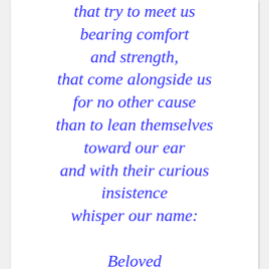that try to meet us bearing comfort and strength, that come alongside us for no other cause than to lean themselves toward our ear and with their curious insistence whisper our name:

Beloved